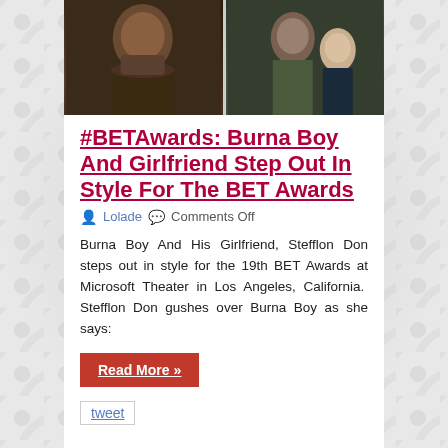[Figure (photo): Two side-by-side photos: left shows Burna Boy in a patterned jacket, right shows Burna Boy with girlfriend Stefflon Don at the BET Awards red carpet.]
#BETAwards: Burna Boy And Girlfriend Step Out In Style For The BET Awards
Lolade   Comments Off
Burna Boy And His Girlfriend, Stefflon Don steps out in style for the 19th BET Awards at Microsoft Theater in Los Angeles, California.  Stefflon Don gushes over Burna Boy as she says:
Read More »
tweet